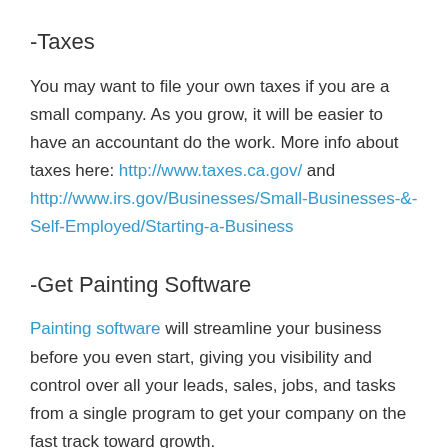-Taxes
You may want to file your own taxes if you are a small company. As you grow, it will be easier to have an accountant do the work. More info about taxes here: http://www.taxes.ca.gov/ and http://www.irs.gov/Businesses/Small-Businesses-&-Self-Employed/Starting-a-Business
-Get Painting Software
Painting software will streamline your business before you even start, giving you visibility and control over all your leads, sales, jobs, and tasks from a single program to get your company on the fast track toward growth.